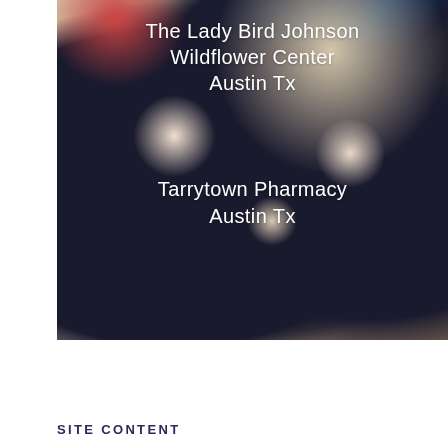[Figure (photo): Close-up photo of what appears to be a dark fabric or textile with paw print patterns, overlaid with white text naming two locations. The background shows beige/tan tones with dark navy/black shapes.]
The Lady Bird Johnson Wildflower Center Austin Tx
Tarrytown Pharmacy Austin Tx
SITE CONTENT